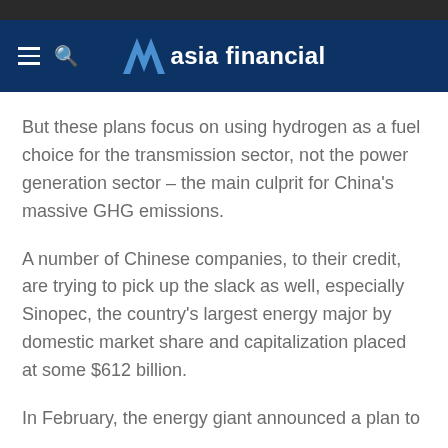asia financial
But these plans focus on using hydrogen as a fuel choice for the transmission sector, not the power generation sector – the main culprit for China's massive GHG emissions.
A number of Chinese companies, to their credit, are trying to pick up the slack as well, especially Sinopec, the country's largest energy major by domestic market share and capitalization placed at some $612 billion.
In February, the energy giant announced a plan to